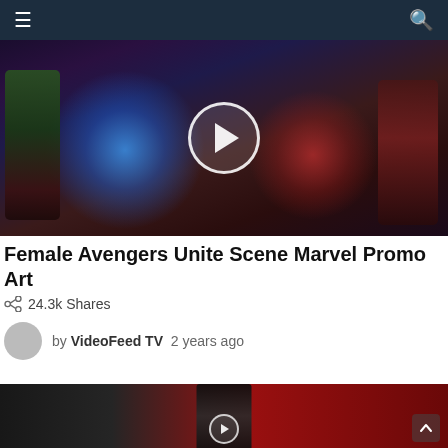Navigation bar with menu and search icons
[Figure (screenshot): Female Avengers Unite Scene Marvel Promo Art - video thumbnail with female superhero characters including Captain Marvel, Gamora, Scarlet Witch, with blue and red energy effects and a play button overlay]
Female Avengers Unite Scene Marvel Promo Art
24.3k Shares
by VideoFeed TV  2 years ago
[Figure (screenshot): Second video thumbnail showing a hooded figure in black and white with red background elements, partially visible with a play button overlay]